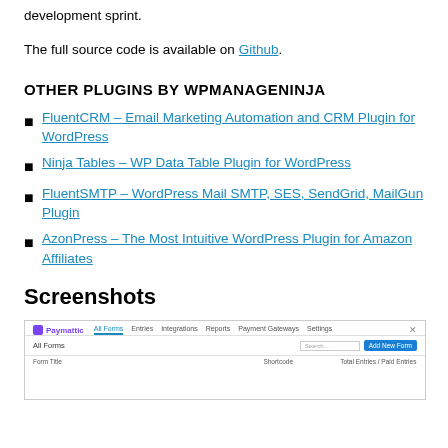development sprint.
The full source code is available on Github.
OTHER PLUGINS BY WPMANAGENINJA
FluentCRM – Email Marketing Automation and CRM Plugin for WordPress
Ninja Tables – WP Data Table Plugin for WordPress
FluentSMTP – WordPress Mail SMTP, SES, SendGrid, MailGun Plugin
AzonPress – The Most Intuitive WordPress Plugin for Amazon Affiliates
Screenshots
[Figure (screenshot): Screenshot of Paymattic plugin interface showing All Forms tab with navigation bar including Entries, Integrations, Reports, Payment Gateways, Settings, and an Add New Form button.]